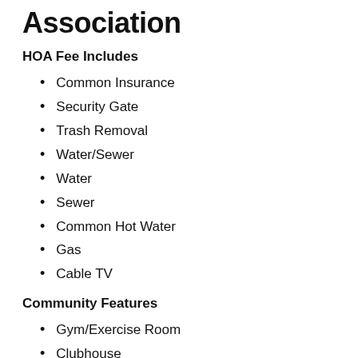Association
HOA Fee Includes
Common Insurance
Security Gate
Trash Removal
Water/Sewer
Water
Sewer
Common Hot Water
Gas
Cable TV
Community Features
Gym/Exercise Room
Clubhouse